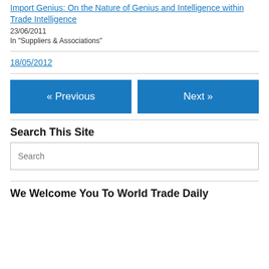Import Genius: On the Nature of Genius and Intelligence within Trade Intelligence
23/06/2011
In "Suppliers & Associations"
18/05/2012
« Previous
Next »
Search This Site
Search
We Welcome You To World Trade Daily